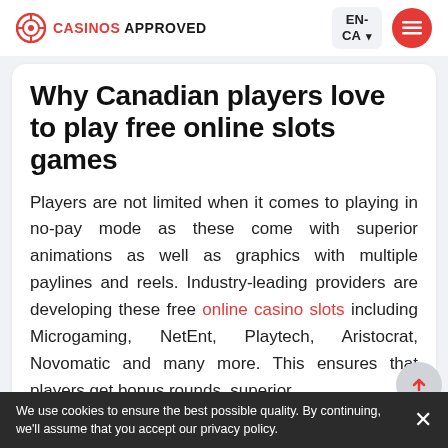CASINOS APPROVED | EN-CA
Why Canadian players love to play free online slots games
Players are not limited when it comes to playing in no-pay mode as these come with superior animations as well as graphics with multiple paylines and reels. Industry-leading providers are developing these free online casino slots including Microgaming, NetEnt, Playtech, Aristocrat, Novomatic and many more. This ensures that players get bonus rounds, superior
We use cookies to ensure the best possible quality. By continuing, we'll assume that you accept our privacy policy.